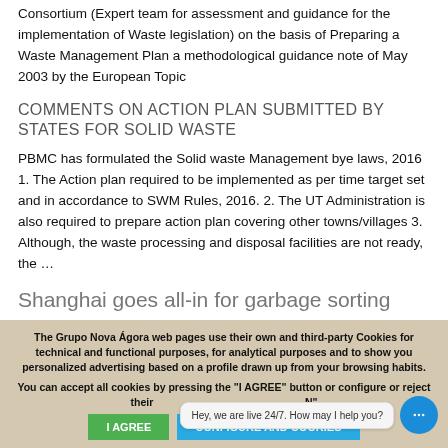Consortium (Expert team for assessment and guidance for the implementation of Waste legislation) on the basis of Preparing a Waste Management Plan a methodological guidance note of May 2003 by the European Topic
COMMENTS ON ACTION PLAN SUBMITTED BY STATES FOR SOLID WASTE
PBMC has formulated the Solid waste Management bye laws, 2016 1. The Action plan required to be implemented as per time target set and in accordance to SWM Rules, 2016. 2. The UT Administration is also required to prepare action plan covering other towns/villages 3. Although, the waste processing and disposal facilities are not ready, the …
Shanghai goes all-in for garbage sorting
"Trash sorting is an important step in achieving proper
The Grupo Nova Ágora web pages use their own and third-party Cookies for technical and functional purposes, for analytical purposes and to show you personalized advertising based on a profile drawn up from your browsing habits.
You can accept all cookies by pressing the "I AGREE" button or configure or reject their N"
Hey, we are live 24/7. How may I help you?